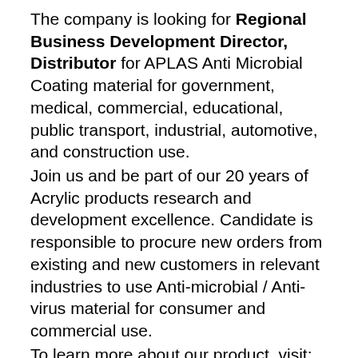The company is looking for Regional Business Development Director, Distributor for APLAS Anti Microbial Coating material for government, medical, commercial, educational, public transport, industrial, automotive, and construction use.
Join us and be part of our 20 years of Acrylic products research and development excellence. Candidate is responsible to procure new orders from existing and new customers in relevant industries to use Anti-microbial / Anti-virus material for consumer and commercial use.
To learn more about our product, visit:
https://aritaplastics.com/anti-microbial/
The company existing International customers are coming from Europe, Japan, South Korea and North